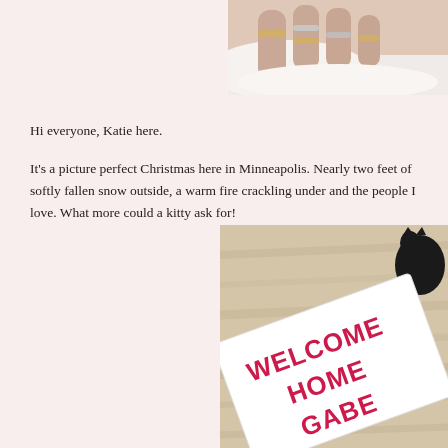[Figure (photo): Close-up photo of a person's hand with rings petting or holding a white animal (likely a cat or dog), cropped at top right of page.]
Hi everyone, Katie here.
It's a picture perfect Christmas here in Minneapolis. Nearly two feet of softly fallen snow outside, a warm fire crackling under and the people I love. What more could a kitty ask for!
[Figure (photo): Photo of a cat next to a white banner sign reading 'WELCOME HOME GABE' in large pink letters, on a light wood floor.]